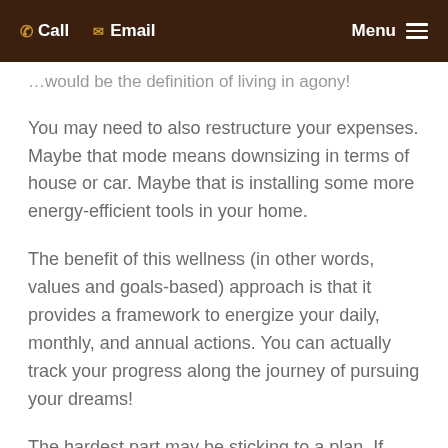Call  Email  Menu
…would be the definition of living in agony!
You may need to also restructure your expenses. Maybe that mode means downsizing in terms of house or car. Maybe that is installing some more energy-efficient tools in your home.
The benefit of this wellness (in other words, values and goals-based) approach is that it provides a framework to energize your daily, monthly, and annual actions. You can actually track your progress along the journey of pursuing your dreams!
The hardest part may be sticking to a plan. If